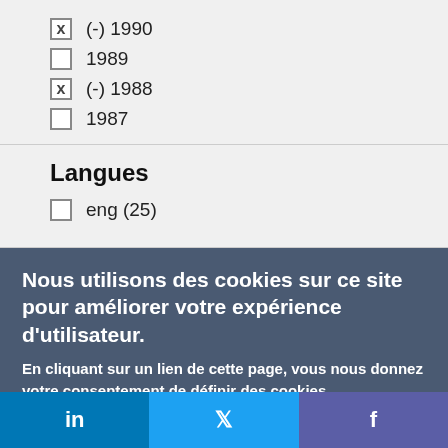x (-) 1990
1989
x (-) 1988
1987
Langues
eng (25)
Nous utilisons des cookies sur ce site pour améliorer votre expérience d'utilisateur.
En cliquant sur un lien de cette page, vous nous donnez votre consentement de définir des cookies.
Oui, je suis d'accord
Plus d'infos
in  [Twitter bird]  f